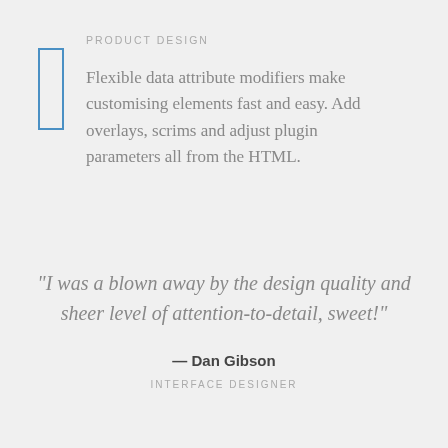PRODUCT DESIGN
Flexible data attribute modifiers make customising elements fast and easy. Add overlays, scrims and adjust plugin parameters all from the HTML.
“I was a blown away by the design quality and sheer level of attention-to-detail, sweet!”
— Dan Gibson
INTERFACE DESIGNER